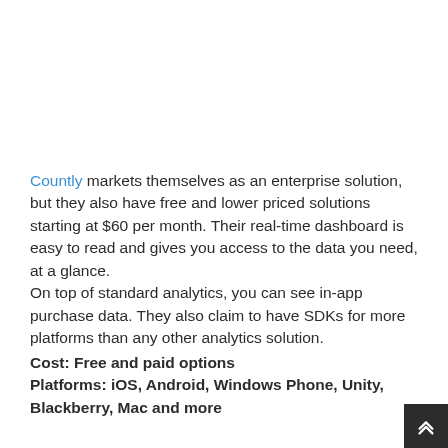Countly markets themselves as an enterprise solution, but they also have free and lower priced solutions starting at $60 per month. Their real-time dashboard is easy to read and gives you access to the data you need, at a glance.
On top of standard analytics, you can see in-app purchase data. They also claim to have SDKs for more platforms than any other analytics solution.
Cost: Free and paid options
Platforms: iOS, Android, Windows Phone, Unity, Blackberry, Mac and more